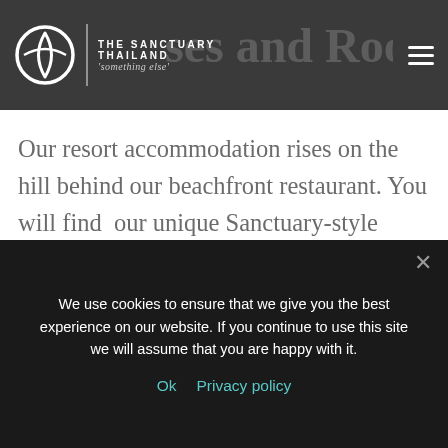The Sanctuary Thailand — 'something else'
Houses and Rooms
Our resort accommodation rises on the hill behind our beachfront restaurant. You will find our unique Sanctuary-style villas and houses, all with stunning views.
Many of these villas and houses are open plan to allow you to get the feeling of living
We use cookies to ensure that we give you the best experience on our website. If you continue to use this site we will assume that you are happy with it.
Ok   Privacy policy